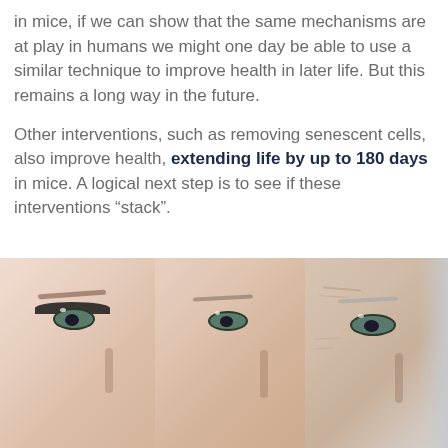in mice, if we can show that the same mechanisms are at play in humans we might one day be able to use a similar technique to improve health in later life. But this remains a long way in the future.
Other interventions, such as removing senescent cells, also improve health, extending life by up to 180 days in mice. A logical next step is to see if these interventions “stack”.
[Figure (photo): Three close-up photos side by side showing faces at different ages — young woman, middle-aged woman, and elderly person — focusing on the eye and upper cheek area, illustrating the aging progression.]